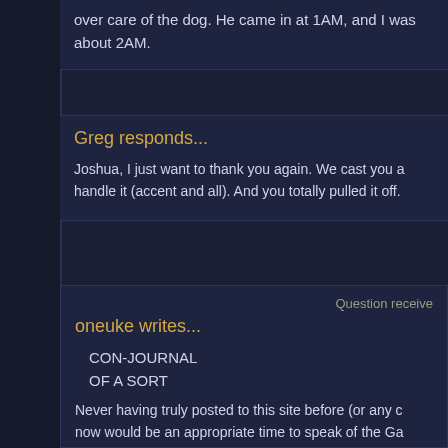over care of the dog. He came in at 1AM, and I was about 2AM.
Greg responds...
Joshua, I just want to thank you again. We cast you a handle it (accent and all). And you totally pulled it off.
Question receive
oneuke writes...
CON-JOURNAL
OF A SORT
Never having truly posted to this site before (or any c now would be an appropriate time to speak of the Ga memories like the look and grief I gave my brother (a about a really well written Disney cartoon and the hu show. Or the joy my oldest daughter experienced afte at the 2001 con and he responded by giving his famo